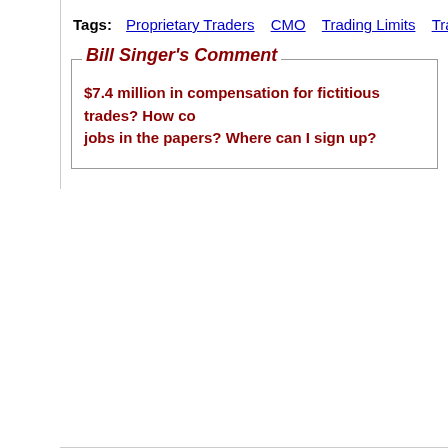Tags: Proprietary Traders   CMO   Trading Limits   Trading Volume
Bill Singer's Comment
$7.4 million in compensation for fictitious trades? How co... jobs in the papers? Where can I sign up?